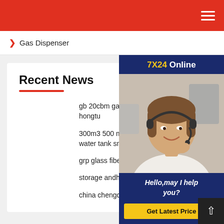Navigation bar with hamburger menu
> Gas Dispenser
[Figure (photo): Customer service representative wearing headset, smiling, with 7X24 Online banner and Hello,may I help you? text and Get Latest Price button]
Recent News
gb 20cbm gas bullet bulk propane hongtu
300m3 500 m3 5000m3 90m3 steel water tank smc sectiona
grp glass fiber reinforced tank in the philippines
storage andhas extensive applicability tank
china chengda lng road tanker tank truck tru...